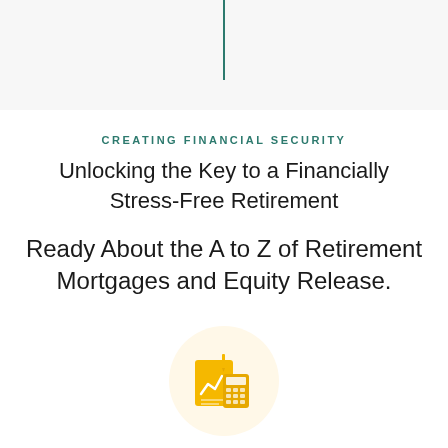[Figure (illustration): Vertical teal/green line at top center of page, decorative divider]
CREATING FINANCIAL SECURITY
Unlocking the Key to a Financially Stress-Free Retirement
Ready About the A to Z of Retirement Mortgages and Equity Release.
[Figure (illustration): Circular light yellow icon containing a financial chart/report and calculator in yellow/gold color]